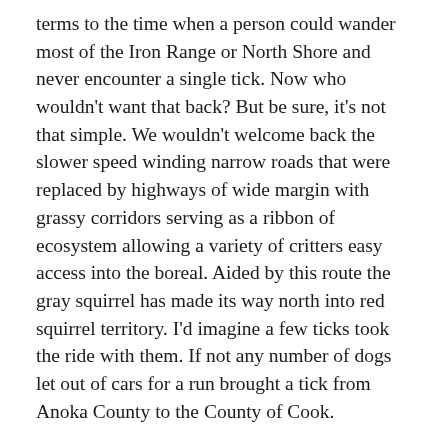terms to the time when a person could wander most of the Iron Range or North Shore and never encounter a single tick. Now who wouldn't want that back? But be sure, it's not that simple. We wouldn't welcome back the slower speed winding narrow roads that were replaced by highways of wide margin with grassy corridors serving as a ribbon of ecosystem allowing a variety of critters easy access into the boreal. Aided by this route the gray squirrel has made its way north into red squirrel territory. I'd imagine a few ticks took the ride with them. If not any number of dogs let out of cars for a run brought a tick from Anoka County to the County of Cook.
This simplified scenario hasn't mentioned deer that were not boreal bound until the old forests were gone to mills and a lot of new growth deer chow stood waiting to be munched into pellets we call browse berries. They are not suitable for pies. We wanted the timber for new houses and furniture. We want the better, safer roads for personal travel and commercial purposes. We seek and desire the